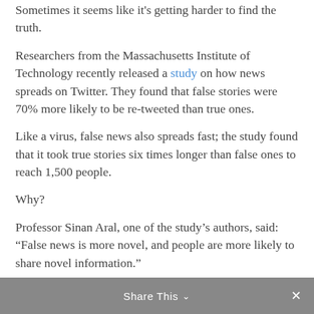Sometimes it seems like it's getting harder to find the truth.
Researchers from the Massachusetts Institute of Technology recently released a study on how news spreads on Twitter. They found that false stories were 70% more likely to be re-tweeted than true ones.
Like a virus, false news also spreads fast; the study found that it took true stories six times longer than false ones to reach 1,500 people.
Why?
Professor Sinan Aral, one of the study's authors, said: “False news is more novel, and people are more likely to share novel information.”
Novel information. Interesting choice of words.
We talk about separating fact from fiction. Yet fiction can
Share This